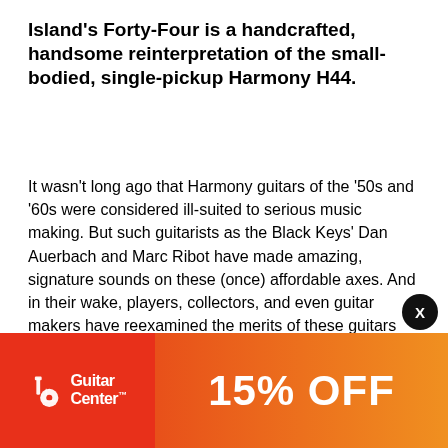Island's Forty-Four is a handcrafted, handsome reinterpretation of the small-bodied, single-pickup Harmony H44.
It wasn't long ago that Harmony guitars of the '50s and '60s were considered ill-suited to serious music making. But such guitarists as the Black Keys' Dan Auerbach and Marc Ribot have made amazing, signature sounds on these (once) affordable axes. And in their wake, players, collectors, and even guitar makers have reexamined the merits of these guitars while driving prices on the vintage market ever higher.
Nic Delisle, the luthier behind Island Instrument Manufacture, uses Harmony, Silvertone, and other departures for his own ideas …new other …a builder …only …Harmony guitars were
[Figure (other): Guitar Center advertisement banner showing red and orange gradient with Guitar Center logo on left and '15% OFF' text on right, with a close (X) button overlay.]